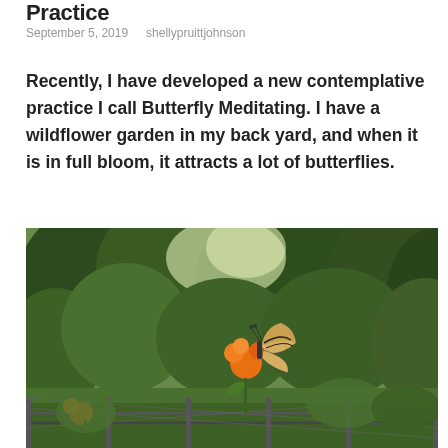Practice
September 5, 2019   shellypruittjohnson
Recently, I have developed a new contemplative practice I call Butterfly Meditating. I have a wildflower garden in my back yard, and when it is in full bloom, it attracts a lot of butterflies.
[Figure (photo): A garden scene with orange wildflowers and a swallowtail butterfly, with lush green trees in the background and a chain-link fence in the foreground.]